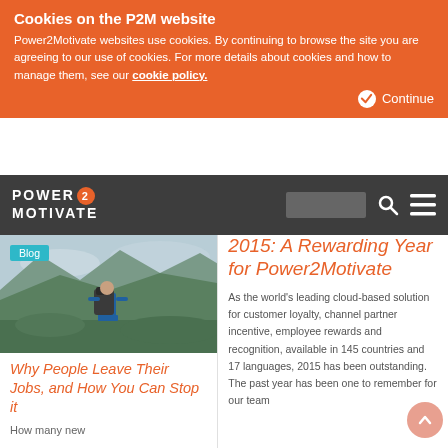Cookies on the P2M website
Power2Motivate websites use cookies. By continuing to browse the site you are agreeing to our use of cookies. For more details about cookies and how to manage them, see our cookie policy.
Continue
POWER 2 MOTIVATE
[Figure (photo): Person with large backpack hiking on a green hillside with mountains and sky in background]
Blog
Why People Leave Their Jobs, and How You Can Stop it
How many new
2015: A Rewarding Year for Power2Motivate
As the world's leading cloud-based solution for customer loyalty, channel partner incentive, employee rewards and recognition, available in 145 countries and 17 languages, 2015 has been outstanding. The past year has been one to remember for our team